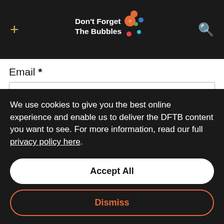Don't Forget The Bubbles
Email *
Website
Save my name, email, and website in this browser for
We use cookies to give you the best online experience and enable us to deliver the DFTB content you want to see. For more information, read our full privacy policy here.
Accept All
Dismiss